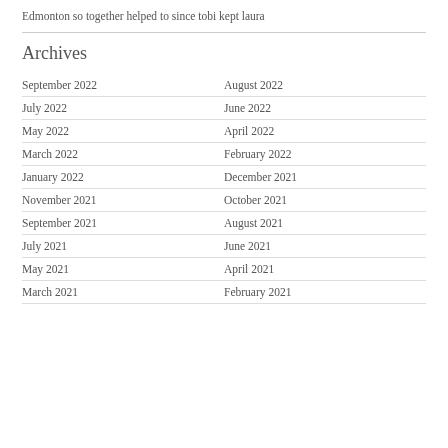Edmonton so together helped to since tobi kept laura
Archives
September 2022
August 2022
July 2022
June 2022
May 2022
April 2022
March 2022
February 2022
January 2022
December 2021
November 2021
October 2021
September 2021
August 2021
July 2021
June 2021
May 2021
April 2021
March 2021
February 2021